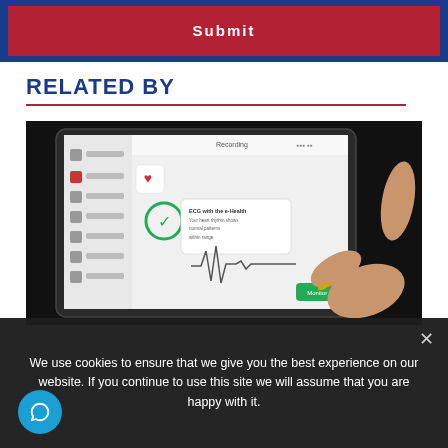Submit
RELATED BY
[Figure (photo): A person's hand with a ring pointing at a tablet screen displaying a health monitoring app with ECG/heart rate waveform data.]
We use cookies to ensure that we give you the best experience on our website. If you continue to use this site we will assume that you are happy with it.